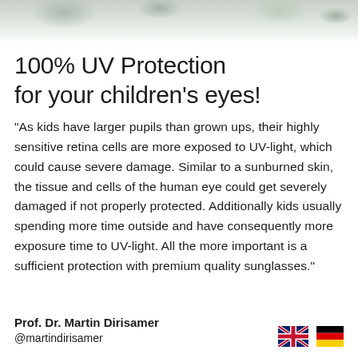[Figure (photo): Outdoor winter/snowy scene photo strip at the top of the page showing a blurred natural background]
100% UV Protection for your children's eyes!
"As kids have larger pupils than grown ups, their highly sensitive retina cells are more exposed to UV-light, which could cause severe damage. Similar to a sunburned skin, the tissue and cells of the human eye could get severely damaged if not properly protected. Additionally kids usually spending more time outside and have consequently more exposure time to UV-light. All the more important is a sufficient protection with premium quality sunglasses."
Prof. Dr. Martin Dirisamer
@martindirisamer
[Figure (illustration): UK flag (Union Jack) and German flag icons side by side]